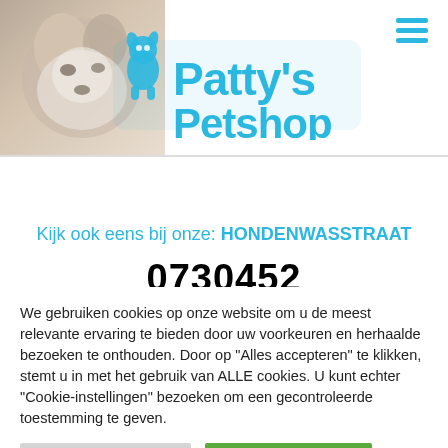[Figure (logo): Patty's Petshop logo with dog photo background and teal blue text and dog icon]
Kijk ook eens bij onze: HONDENWASSTRAAT
0730452
We gebruiken cookies op onze website om u de meest relevante ervaring te bieden door uw voorkeuren en herhaalde bezoeken te onthouden. Door op "Alles accepteren" te klikken, stemt u in met het gebruik van ALLE cookies. U kunt echter "Cookie-instellingen" bezoeken om een gecontroleerde toestemming te geven.
Cookie Instellingen
Alles Accepteren